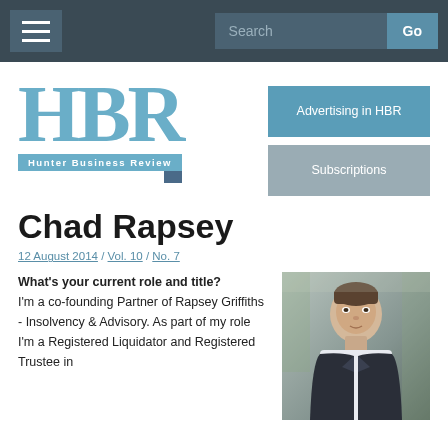Hunter Business Review — Navigation bar with hamburger menu and search
[Figure (logo): HBR Hunter Business Review logo in blue serif letters with subtitle bar]
Advertising in HBR
Subscriptions
Chad Rapsey
12 August 2014 / Vol. 10 / No. 7
What's your current role and title?
I'm a co-founding Partner of Rapsey Griffiths - Insolvency & Advisory. As part of my role I'm a Registered Liquidator and Registered Trustee in
[Figure (photo): Professional headshot of Chad Rapsey in a dark suit standing outdoors]